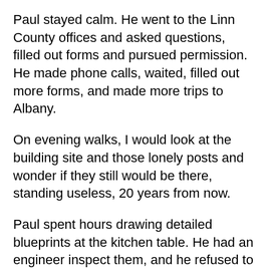Paul stayed calm. He went to the Linn County offices and asked questions, filled out forms and pursued permission. He made phone calls, waited, filled out more forms, and made more trips to Albany.
On evening walks, I would look at the building site and those lonely posts and wonder if they still would be there, standing useless, 20 years from now.
Paul spent hours drawing detailed blueprints at the kitchen table. He had an engineer inspect them, and he refused to tell me how much he paid for this.
“I think I’d have given up,” said our friend Nelson after Paul told him the whole story recently.
I’m sure I would have, too.
And there were other tests along the way.